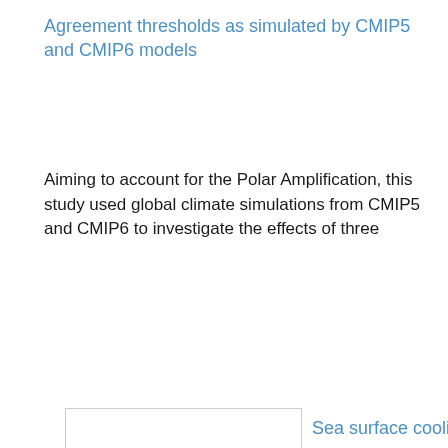Agreement thresholds as simulated by CMIP5 and CMIP6 models
Aiming to account for the Polar Amplification, this study used global climate simulations from CMIP5 and CMIP6 to investigate the effects of three
[Figure (photo): Thumbnail image placeholder with white background and border]
Sea surface cooling
mechanisms caused by oceanic SACZ episodes at Southwestern Atlantic
A recent study led by Dr Luciano Pezzi, member of the CLIVAR/CliC/SCAR Southern Ocean Region Panel, was published in Climate